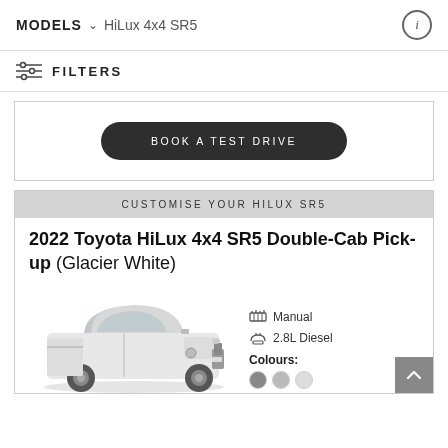MODELS  HiLux 4x4 SR5
FILTERS
BOOK A TEST DRIVE
CUSTOMISE YOUR HILUX SR5
2022 Toyota HiLux 4x4 SR5 Double-Cab Pick-up (Glacier White)
[Figure (photo): White 2022 Toyota HiLux 4x4 SR5 Double-Cab Pick-up truck shown from front-left angle]
Manual
2.8L Diesel
Colours: